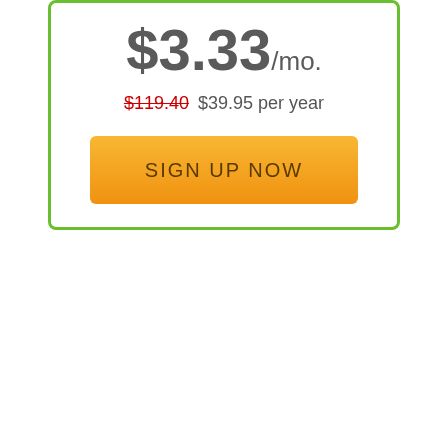$3.33/mo.
$119.40 $39.95 per year
SIGN UP NOW